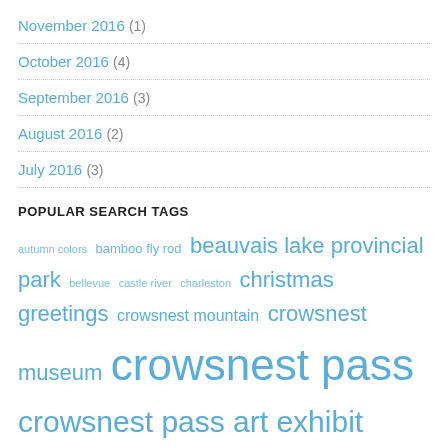November 2016 (1)
October 2016 (4)
September 2016 (3)
August 2016 (2)
July 2016 (3)
POPULAR SEARCH TAGS
autumn colors bamboo fly rod beauvais lake provincial park bellevue castle river charleston christmas greetings crowsnest mountain crowsnest museum crowsnest pass crowsnest pass art exhibit crowsnest pass art gallery crowsnest pass artists crowsnest pass christmas crowsnest pass fly-fishing crowsnest pass history crowsnest pass outdoors crowsnest pass photography crowsnest pass public